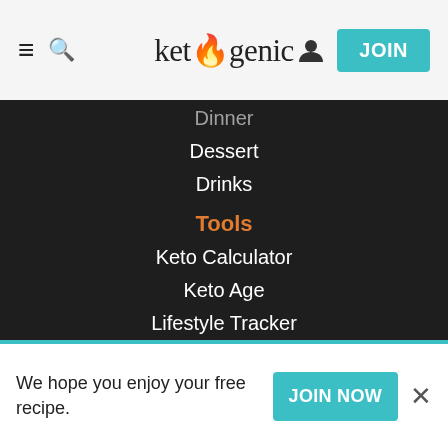ketogenic — navigation header with hamburger menu, search, user icon, and JOIN button
Dinner (partial, scrolled)
Dessert
Drinks
Tools
Keto Calculator
Keto Age
Lifestyle Tracker
Meal Planner
Food Finder
Doctor Finder
Courses
Keto Mastery
Shop
We hope you enjoy your free recipe.